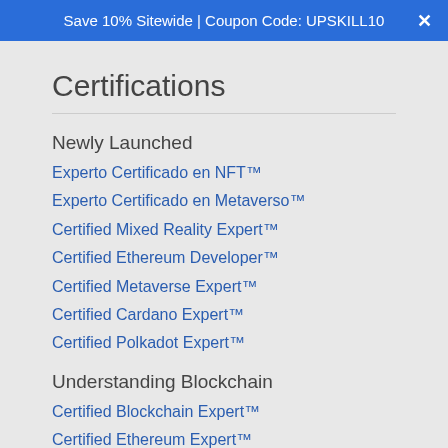Save 10% Sitewide | Coupon Code: UPSKILL10
Certifications
Newly Launched
Experto Certificado en NFT™
Experto Certificado en Metaverso™
Certified Mixed Reality Expert™
Certified Ethereum Developer™
Certified Metaverse Expert™
Certified Cardano Expert™
Certified Polkadot Expert™
Understanding Blockchain
Certified Blockchain Expert™
Certified Ethereum Expert™